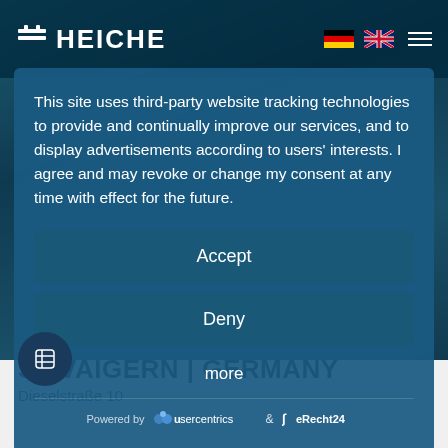HEICHE
This site uses third-party website tracking technologies to provide and continually improve our services, and to display advertisements according to users' interests. I agree and may revoke or change my consent at any time with effect for the future.
Accept
Deny
more
Powered by usercentrics & eRecht24
SWAIGERN | GERMANY
Dieselstraße 10